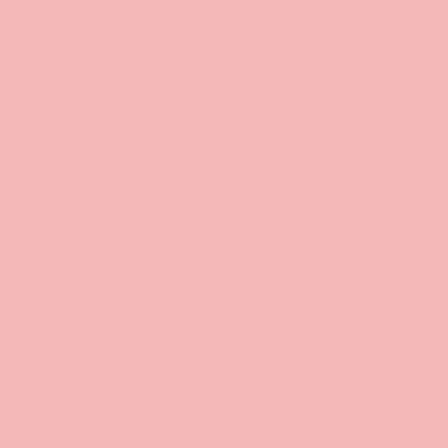Gogoj Aka Sheng Jie: Ovip... (Maybe Noise) [03-01]
Al Gold: Al Gold's Paradise... (self-released) [03-06] - blues [A-...]
Gold Key: Panic Machine ... [05-01] - alt/indie
Ben Goldberg: Symphony N... (BAG Production) [01-24] -
Ben Goldberg: Plague Dia... Production) [08-27] - jazz
Ben Goldberg/Kenny Woll... Music for an Avant-Garde M... Parlour (BAG Production) [...] jazz [**]
The Golden Age of Steam: ... Brain (Limited Noise) - jazz...
Golden Retriever and Chu... Johnson: Rain Shadow (Th... Jockey) [05-15]
Goldfinger: Never Look Ba... Noise) [12-04]
Jason "Spicy G" Goldmam... Hypnotized (self-released) -
Goldmund: The Time It Ta... (Western Vinyl) [10-16] - po...